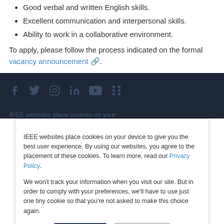Good verbal and written English skills.
Excellent communication and interpersonal skills.
Ability to work in a collaborative environment.
To apply, please follow the process indicated on the formal vacancy announcement.
[Figure (other): Dark footer bar with social media icons: Facebook, Twitter, Instagram, LinkedIn, YouTube, RSS]
IEEE websites place cookies on your device to give you the best user experience. By using our websites, you agree to the placement of these cookies. To learn more, read our Privacy Policy.
We won't track your information when you visit our site. But in order to comply with your preferences, we'll have to use just one tiny cookie so that you're not asked to make this choice again.
Accept / Decline buttons